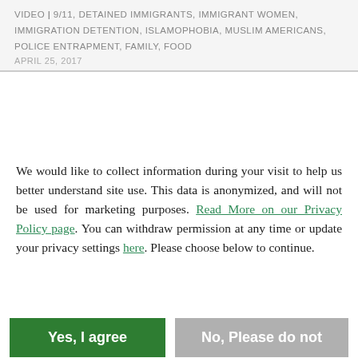VIDEO | 9/11, DETAINED IMMIGRANTS, IMMIGRANT WOMEN, IMMIGRATION DETENTION, ISLAMOPHOBIA, MUSLIM AMERICANS, POLICE ENTRAPMENT, FAMILY, FOOD
APRIL 25, 2017
We would like to collect information during your visit to help us better understand site use. This data is anonymized, and will not be used for marketing purposes. Read More on our Privacy Policy page. You can withdraw permission at any time or update your privacy settings here. Please choose below to continue.
Yes, I agree
No, Please do not